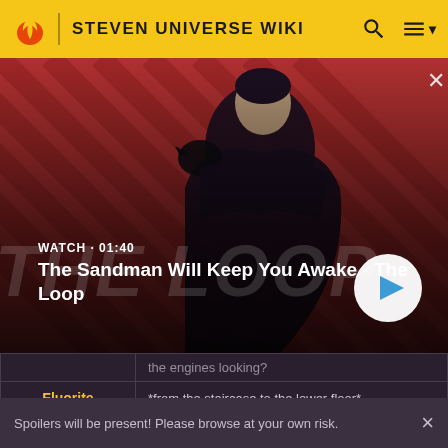STEVEN UNIVERSE WIKI
[Figure (screenshot): Video thumbnail showing a dark-cloaked figure with a raven on their shoulder against a red diagonal striped background. Shows 'WATCH · 01:40' label and title 'The Sandman Will Keep You Awake - The Loop' with a white play button circle.]
| Character | Dialogue |
| --- | --- |
|  | the engines looking? |
| Fluorite | *from the staircase to the lower floor* Let...me...check... |
Spoilers will be present! Please browse at your own risk.